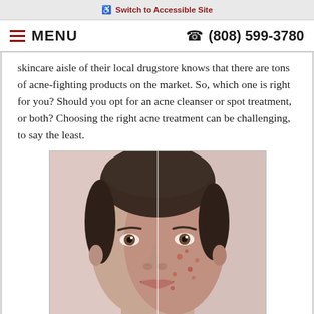♿ Switch to Accessible Site
≡ MENU   ☎ (808) 599-3780
skincare aisle of their local drugstore knows that there are tons of acne-fighting products on the market. So, which one is right for you? Should you opt for an acne cleanser or spot treatment, or both? Choosing the right acne treatment can be challenging, to say the least.
[Figure (photo): Split-face photo of a woman: the left half shows clear skin, the right half shows acne-prone skin with visible blemishes. Used to illustrate the contrast between clear and acne-affected skin.]